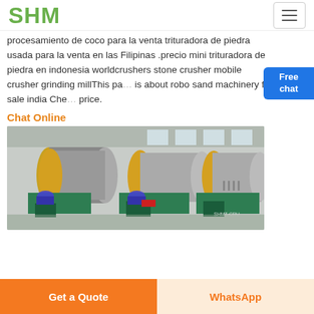SHM
procesamiento de coco para la venta trituradora de piedra usada para la venta en las Filipinas .precio mini trituradora de piedra en indonesia worldcrushers stone crusher mobile crusher grinding millThis page is about robo sand machinery for sale india Check price.
Chat Online
[Figure (photo): Industrial magnetic separator machines with green bases and yellow drum ends in a factory setting]
Get a Quote | WhatsApp